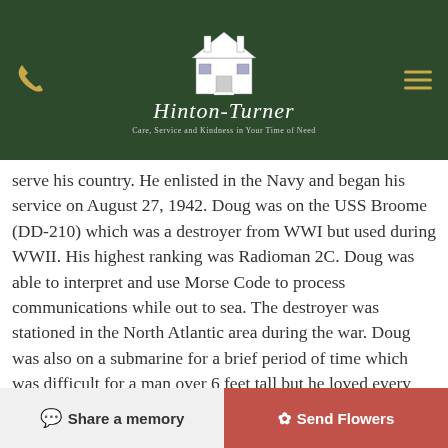[Figure (logo): Hinton-Turner funeral home logo with house illustration on dark green background, with phone icon and hamburger menu icon]
serve his country. He enlisted in the Navy and began his service on August 27, 1942. Doug was on the USS Broome (DD-210) which was a destroyer from WWI but used during WWII. His highest ranking was Radioman 2C. Doug was able to interpret and use Morse Code to process communications while out to sea. The destroyer was stationed in the North Atlantic area during the war. Doug was also on a submarine for a brief period of time which was difficult for a man over 6 feet tall but he loved every minute. While in the Navy he went to Radar Material School in Norfolk and completed pre-flight school in Iowa. He had a long weekend while docked in Norfolk so he and some of his buddies traveled to Lexington. While in the town he fell in love with the area. Doug received honorable discharge from the Navy in 1946 and remained in the reserves. He received several awards while serving in the Navy. They included: The America Area Ribbon, The
Share a memory   Send Flowers